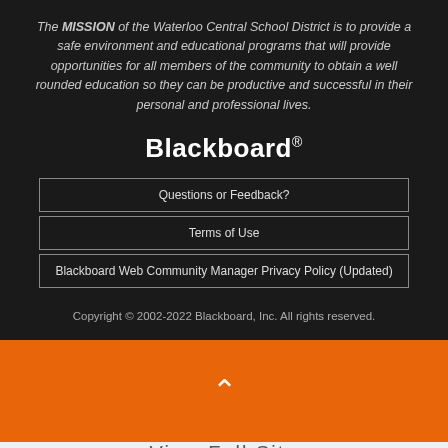The MISSION of the Waterloo Central School District is to provide a safe environment and educational programs that will provide opportunities for all members of the community to obtain a well rounded education so they can be productive and successful in their personal and professional lives.
[Figure (logo): Blackboard logo — bold white text reading 'Blackboard' with a registered trademark superscript]
Questions or Feedback?
Terms of Use
Blackboard Web Community Manager Privacy Policy (Updated)
Copyright © 2002-2022 Blackboard, Inc. All rights reserved.
View Full Site